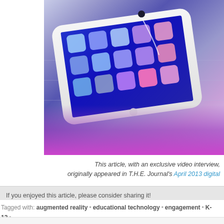[Figure (photo): Close-up photo of a white tablet (iPad-like device) with a blue screen showing app icons, on a purple-gradient background. The tablet is angled/tilted in the composition.]
This article, with an exclusive video interview, originally appeared in T.H.E. Journal's April 2013 digital
If you enjoyed this article, please consider sharing it!
Tagged with: augmented reality · educational technology · engagement · K-12 · technology